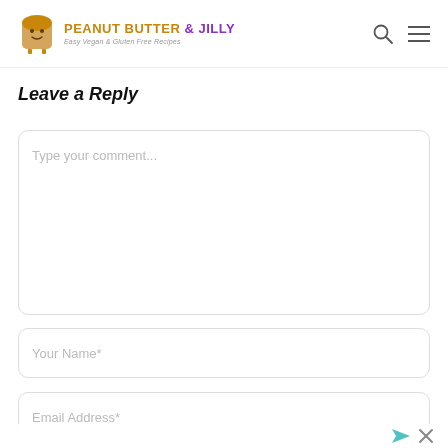Peanut Butter & Jilly — Easy Vegan & Gluten Free Recipes
Leave a Reply
Type your comment...
Your Name*
Email Address*